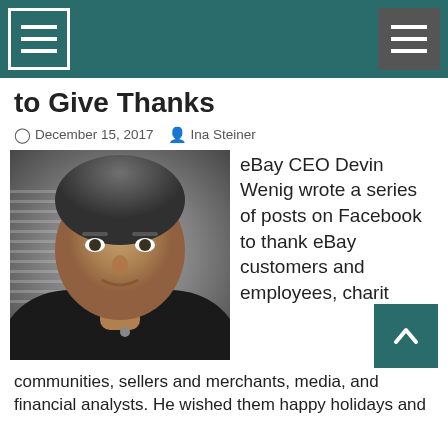[Navigation header bar with menu icons]
to Give Thanks
December 15, 2017   Ina Steiner
[Figure (photo): Portrait photo of eBay CEO Devin Wenig, a middle-aged man in a dark jacket against a blurred background]
eBay CEO Devin Wenig wrote a series of posts on Facebook to thank eBay customers and employees, charit
communities, sellers and merchants, media, and financial analysts. He wished them happy holidays and